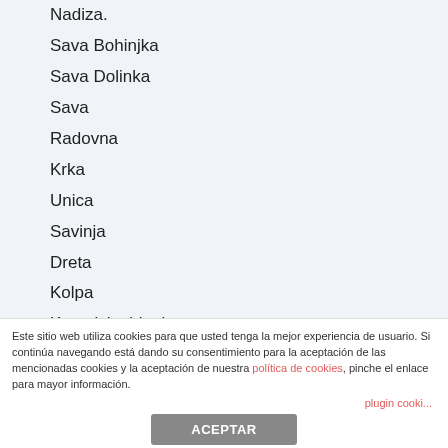Nadiza.
Sava Bohinjka
Sava Dolinka
Sava
Radovna
Krka
Unica
Savinja
Dreta
Kolpa
Kamniska bistrica
Iscica
Iska
Trziska bistrica
Sora
Este sitio web utiliza cookies para que usted tenga la mejor experiencia de usuario. Si continúa navegando está dando su consentimiento para la aceptación de las mencionadas cookies y la aceptación de nuestra política de cookies, pinche el enlace para mayor información.
plugin cooki...
ACEPTAR